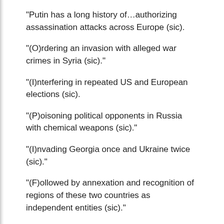“Putin has a long history of…authorizing assassination attacks across Europe (sic).
“(O)rdering an invasion with alleged war crimes in Syria (sic).”
“(I)nterfering in repeated US and European elections (sic).
“(P)oisoning political opponents in Russia with chemical weapons (sic).”
“(I)nvading Georgia once and Ukraine twice (sic).”
“(F)ollowed by annexation and recognition of regions of these two countries as independent entities (sic).”
All of the above fiction about Russia reflects a